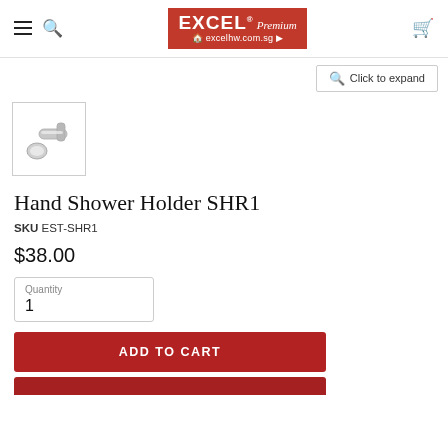Excel Premium - excelhw.com.sg
Click to expand
[Figure (photo): Thumbnail image of chrome hand shower holder SHR1 bracket]
Hand Shower Holder SHR1
SKU EST-SHR1
$38.00
Quantity
1
ADD TO CART